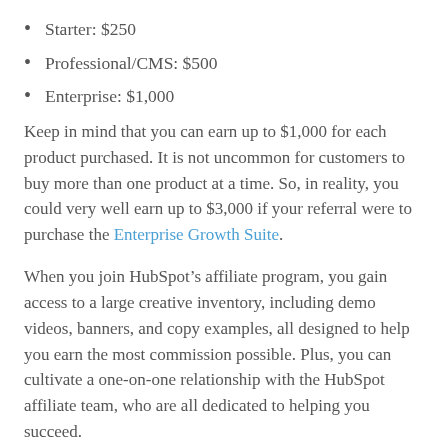Starter: $250
Professional/CMS: $500
Enterprise: $1,000
Keep in mind that you can earn up to $1,000 for each product purchased. It is not uncommon for customers to buy more than one product at a time. So, in reality, you could very well earn up to $3,000 if your referral were to purchase the Enterprise Growth Suite.
When you join HubSpot’s affiliate program, you gain access to a large creative inventory, including demo videos, banners, and copy examples, all designed to help you earn the most commission possible. Plus, you can cultivate a one-on-one relationship with the HubSpot affiliate team, who are all dedicated to helping you succeed.
If you have a large business audience or want to